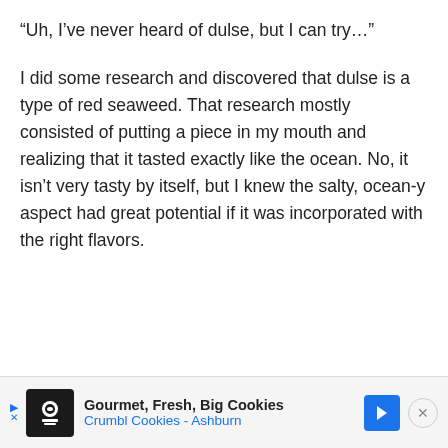“Uh, I’ve never heard of dulse, but I can try…”
I did some research and discovered that dulse is a type of red seaweed. That research mostly consisted of putting a piece in my mouth and realizing that it tasted exactly like the ocean. No, it isn’t very tasty by itself, but I knew the salty, ocean-y aspect had great potential if it was incorporated with the right flavors.
[Figure (screenshot): Advertisement banner for Crumbl Cookies - Ashburn with logo, navigation arrow icon, and close button]